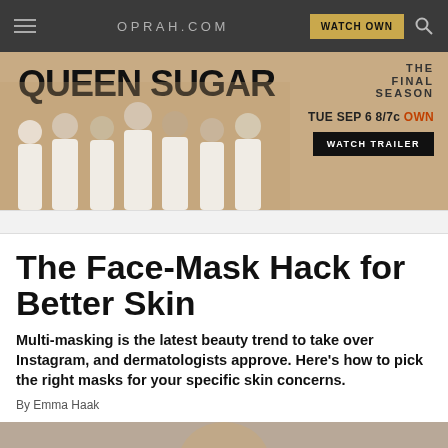OPRAH.COM | WATCH OWN
[Figure (illustration): Queen Sugar TV show advertisement banner with cast members dressed in white, promoting the Final Season. TUE SEP 6 8/7c OWN. WATCH TRAILER button.]
The Face-Mask Hack for Better Skin
Multi-masking is the latest beauty trend to take over Instagram, and dermatologists approve. Here's how to pick the right masks for your specific skin concerns.
By Emma Haak
[Figure (photo): Partial photo of a person at the bottom of the page]